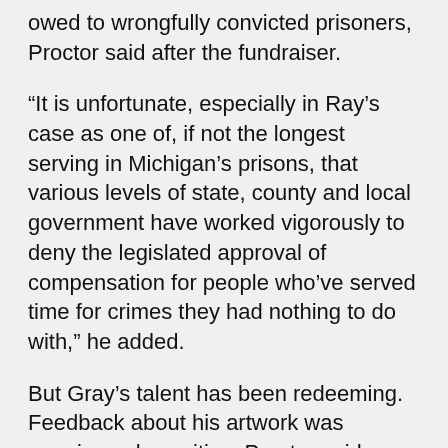owed to wrongfully convicted prisoners, Proctor said after the fundraiser.
“It is unfortunate, especially in Ray’s case as one of, if not the longest serving in Michigan’s prisons, that various levels of state, county and local government have worked vigorously to deny the legislated approval of compensation for people who’ve served time for crimes they had nothing to do with,” he added.
But Gray’s talent has been redeeming. Feedback about his artwork was unanimously positive, Proctor said.
Fox 2 coverage, 2021: